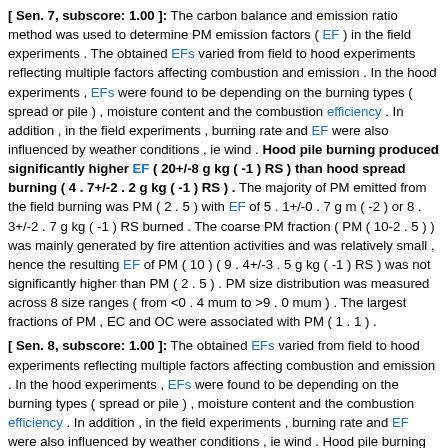[ Sen. 7, subscore: 1.00 ]: The carbon balance and emission ratio method was used to determine PM emission factors ( EF ) in the field experiments . The obtained EFs varied from field to hood experiments reflecting multiple factors affecting combustion and emission . In the hood experiments , EFs were found to be depending on the burning types ( spread or pile ) , moisture content and the combustion efficiency . In addition , in the field experiments , burning rate and EF were also influenced by weather conditions , ie wind . Hood pile burning produced significantly higher EF ( 20+/-8 g kg ( -1 ) RS ) than hood spread burning ( 4 . 7+/-2 . 2 g kg ( -1 ) RS ) . The majority of PM emitted from the field burning was PM ( 2 . 5 ) with EF of 5 . 1+/-0 . 7 g m ( -2 ) or 8 . 3+/-2 . 7 g kg ( -1 ) RS burned . The coarse PM fraction ( PM ( 10-2 . 5 ) ) was mainly generated by fire attention activities and was relatively small , hence the resulting EF of PM ( 10 ) ( 9 . 4+/-3 . 5 g kg ( -1 ) RS ) was not significantly higher than PM ( 2 . 5 ) . PM size distribution was measured across 8 size ranges ( from <0 . 4 mum to >9 . 0 mum ) . The largest fractions of PM , EC and OC were associated with PM ( 1 . 1 ) .
[ Sen. 8, subscore: 1.00 ]: The obtained EFs varied from field to hood experiments reflecting multiple factors affecting combustion and emission . In the hood experiments , EFs were found to be depending on the burning types ( spread or pile ) , moisture content and the combustion efficiency . In addition , in the field experiments , burning rate and EF were also influenced by weather conditions , ie wind . Hood pile burning produced significantly higher EF ( 20+/-8 g kg ( -1 ) RS ) than hood spread burning ( 4 . 7+/-2 . 2 g kg ( -1 ) RS ) . The majority of PM emitted from the field burning was PM ( 2 . 5 ) with EF of 5 . 1+/-0 . 7 g m ( -2 ) or 8 . 3+/-2 . 7 g kg ( -1 ) RS burned . The coarse PM fraction ( PM ( 10-2 . 5 ) ) was mainly generated by fire attention activities and was relatively small , hence the resulting EF of PM ( 10 ) ( 9 . 4+/-3 . 5 g